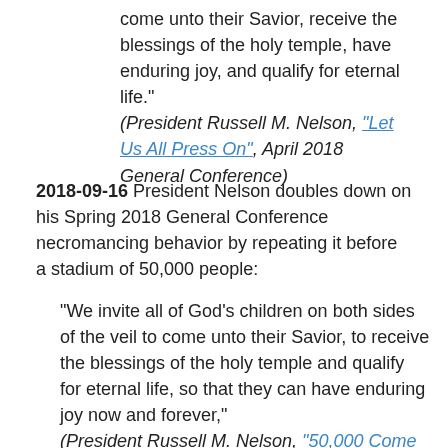come unto their Savior, receive the blessings of the holy temple, have enduring joy, and qualify for eternal life."
(President Russell M. Nelson, "Let Us All Press On", April 2018 General Conference)
2018-09-16 President Nelson doubles down on his Spring 2018 General Conference necromancing behavior by repeating it before a stadium of 50,000 people:
“We invite all of God’s children on both sides of the veil to come unto their Savior, to receive the blessings of the holy temple and qualify for eternal life, so that they can have enduring joy now and forever,"
(President Russell M. Nelson, "50,000 Come to MLB Stadium to Hear President Nelson Share Vital